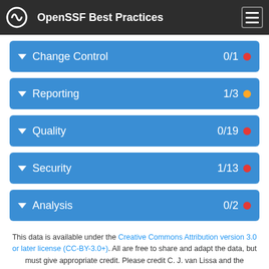OpenSSF Best Practices
Change Control 0/1
Reporting 1/3
Quality 0/19
Security 1/13
Analysis 0/2
This data is available under the Creative Commons Attribution version 3.0 or later license (CC-BY-3.0+). All are free to share and adapt the data, but must give appropriate credit. Please credit C. J. van Lissa and the OpenSSF Best Practices badge contributors.